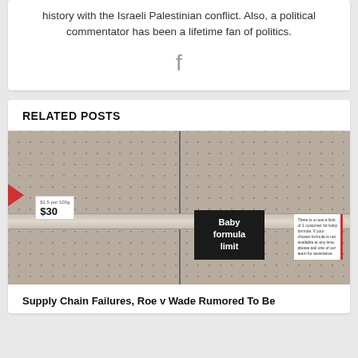history with the Israeli Palestinian conflict. Also, a political commentator has been a lifetime fan of politics.
[Figure (illustration): Facebook share icon (letter f) centered in gray]
RELATED POSTS
[Figure (photo): Empty store shelves with pegboard backing showing a Baby formula limit sign and a $30 price tag, with a red arrow on the left side]
Supply Chain Failures, Roe v Wade Rumored To Be